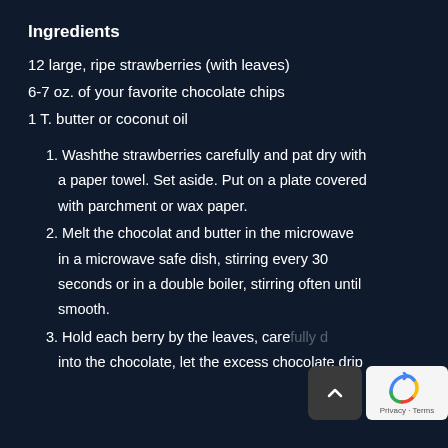Ingredients
12 large, ripe strawberries (with leaves)
6-7 oz. of your favorite chocolate chips
1 T. butter or coconut oil
1. Washthe strawberries carefully and pat dry with a paper towel. Set aside. Put on a plate covered with parchment or wax paper.
2. Melt the chocolat and butter in the microwave in a microwave safe dish, stirring every 30 seconds or in a double boiler, stirring often until smooth.
3. Hold each berry by the leaves, carefully d into the chocolate, let the excess chocolate drip